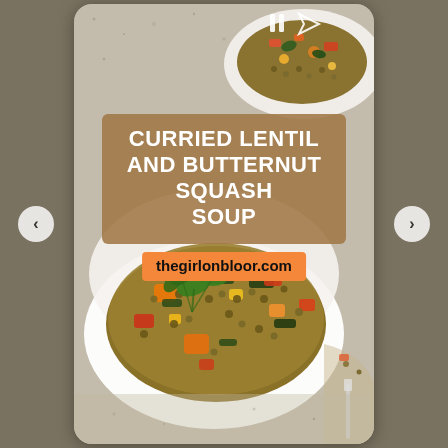[Figure (photo): Social media story screenshot showing a bowl of curried lentil and butternut squash soup with colorful vegetables and cilantro garnish, on a marble/granite surface. A second bowl is partially visible at the top right. Navigation arrows on left and right sides. Pause and send icons at top right.]
CURRIED LENTIL AND BUTTERNUT SQUASH SOUP
thegirlonbloor.com